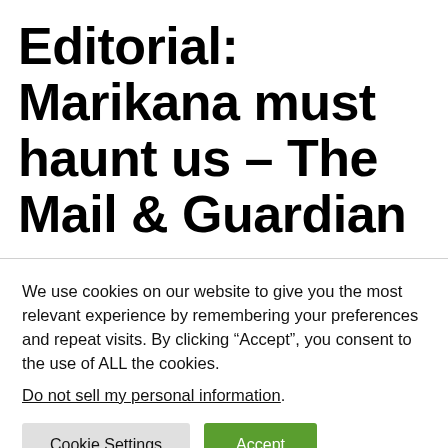Editorial: Marikana must haunt us – The Mail & Guardian
We use cookies on our website to give you the most relevant experience by remembering your preferences and repeat visits. By clicking “Accept”, you consent to the use of ALL the cookies.
Do not sell my personal information.
Cookie Settings   Accept